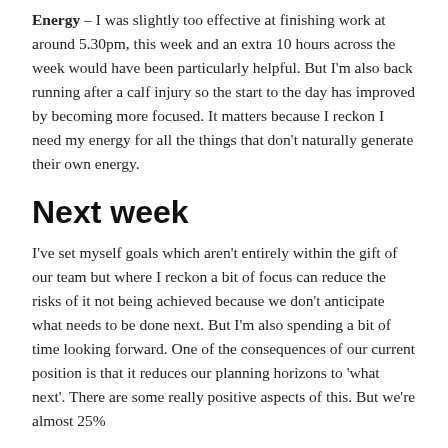Energy – I was slightly too effective at finishing work at around 5.30pm, this week and an extra 10 hours across the week would have been particularly helpful. But I'm also back running after a calf injury so the start to the day has improved by becoming more focused. It matters because I reckon I need my energy for all the things that don't naturally generate their own energy.
Next week
I've set myself goals which aren't entirely within the gift of our team but where I reckon a bit of focus can reduce the risks of it not being achieved because we don't anticipate what needs to be done next. But I'm also spending a bit of time looking forward. One of the consequences of our current position is that it reduces our planning horizons to 'what next'. There are some really positive aspects of this. But we're almost 25%